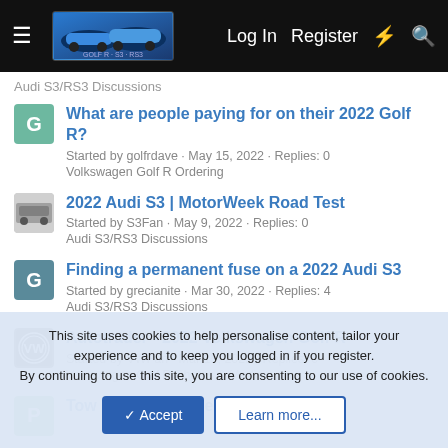Log In  Register
Audi S3/RS3 Discussions
What are people paying for on their 2022 Golf R?
Started by golfrdave · May 15, 2022 · Replies: 0
Volkswagen Golf R Ordering
2022 Audi S3 | MotorWeek Road Test
Started by S3Fan · May 9, 2022 · Replies: 0
Audi S3/RS3 Discussions
Finding a permanent fuse on a 2022 Audi S3
Started by grecianite · Mar 30, 2022 · Replies: 4
Audi S3/RS3 Discussions
Autotrader - 2022 Volkswagen Golf R
Started by VWFan · Mar 15, 2022 · Replies: 0
Volkswagen Golf R Photos & Media
Tow bar RS 3 model 2022
This site uses cookies to help personalise content, tailor your experience and to keep you logged in if you register.
By continuing to use this site, you are consenting to our use of cookies.